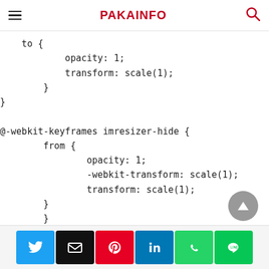PAKAINFO
to {
        opacity: 1;
        transform: scale(1);
    }
}

@-webkit-keyframes imresizer-hide {
    from {
        opacity: 1;
        -webkit-transform: scale(1);
        transform: scale(1);
    }
}
Social share buttons: Twitter, Email, Pinterest, LinkedIn, WhatsApp, LINE